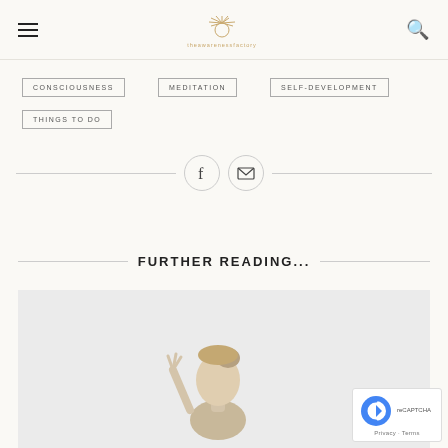Navigation header with hamburger menu, sun logo, and search icon
CONSCIOUSNESS
MEDITATION
SELF-DEVELOPMENT
THINGS TO DO
[Figure (other): Social share bar with Facebook and email icons flanked by horizontal lines]
FURTHER READING...
[Figure (photo): Woman in meditation or yoga pose, hands raised, light background]
[Figure (other): reCAPTCHA Privacy - Terms badge in bottom right corner]